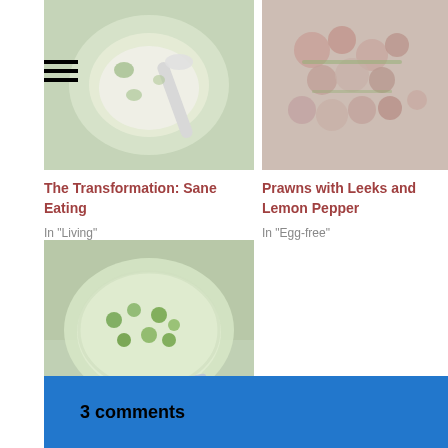[Figure (photo): Bowl of soup with spoon, food photo]
The Transformation: Sane Eating
In "Living"
[Figure (photo): Prawns with leeks dish, food photo]
Prawns with Leeks and Lemon Pepper
In "Egg-free"
[Figure (photo): Green pea and pineapple salad in bowl, food photo]
Green Pea and Pineapple Salad
In "Egg-free"
3 comments